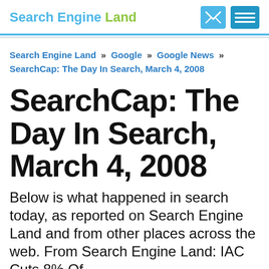Search Engine Land
Search Engine Land » Google » Google News » SearchCap: The Day In Search, March 4, 2008
SearchCap: The Day In Search, March 4, 2008
Below is what happened in search today, as reported on Search Engine Land and from other places across the web. From Search Engine Land: IAC Cuts 8% Of